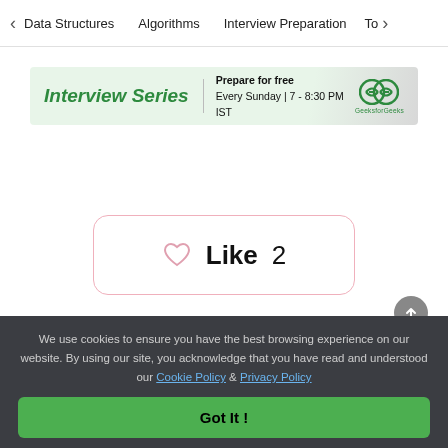< Data Structures   Algorithms   Interview Preparation   To>
[Figure (infographic): Interview Series banner with green italic text 'Interview Series', divider, 'Prepare for free Every Sunday | 7 - 8:30 PM IST', and GeeksforGeeks logo]
Like  2
We use cookies to ensure you have the best browsing experience on our website. By using our site, you acknowledge that you have read and understood our Cookie Policy & Privacy Policy
Got It !